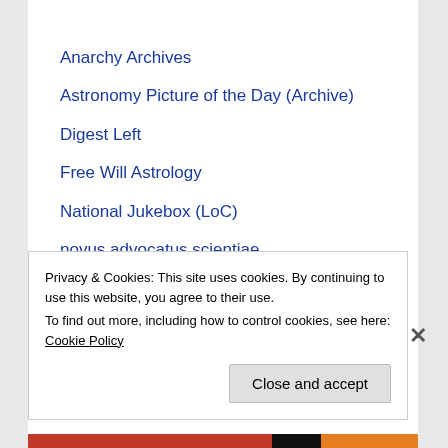Anarchy Archives
Astronomy Picture of the Day (Archive)
Digest Left
Free Will Astrology
National Jukebox (LoC)
novus advocatus scientiae
SCWC Blog
The Book of Lies
The Stranger
This Is
World Socialist Web Site
Privacy & Cookies: This site uses cookies. By continuing to use this website, you agree to their use.
To find out more, including how to control cookies, see here: Cookie Policy